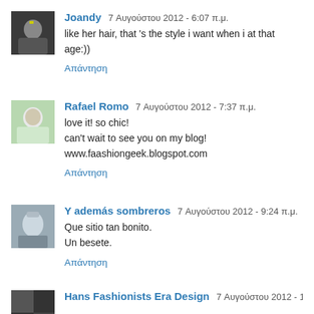Joandy 7 Αυγούστου 2012 - 6:07 π.μ.
like her hair, that 's the style i want when i at that age:))
Απάντηση
Rafael Romo 7 Αυγούστου 2012 - 7:37 π.μ.
love it! so chic!
can't wait to see you on my blog!
www.faashiongeek.blogspot.com
Απάντηση
Y además sombreros 7 Αυγούστου 2012 - 9:24 π.μ.
Que sitio tan bonito.
Un besete.
Απάντηση
Hans Fashionists Era Design 7 Αυγούστου 2012 - 11:17